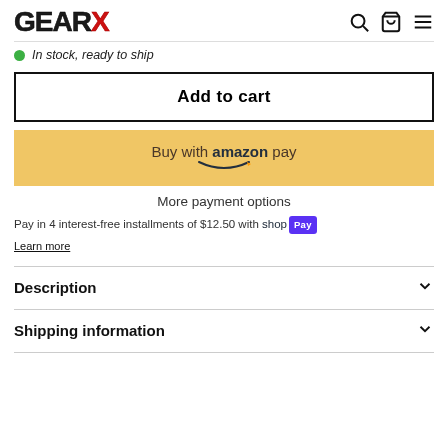GEAR X — navigation header with search, cart, and menu icons
In stock, ready to ship
Add to cart
Buy with amazon pay
More payment options
Pay in 4 interest-free installments of $12.50 with Shop Pay
Learn more
Description
Shipping information